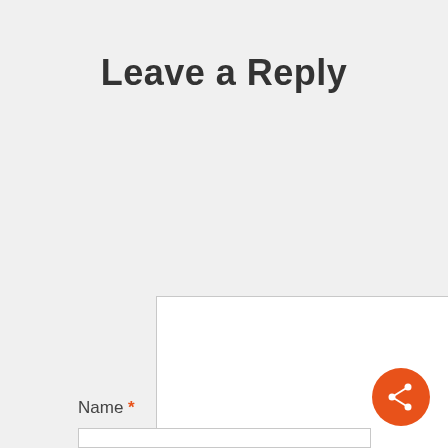Leave a Reply
[Figure (screenshot): Empty comment textarea input box with resize handle in bottom-right corner]
[Figure (other): Orange circular share/social button with share icon]
Name *
[Figure (screenshot): Empty Name text input field]